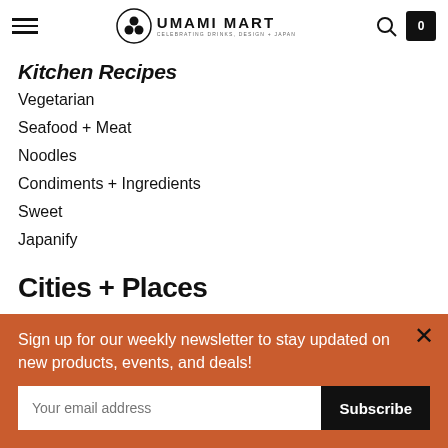UMAMI MART — CELEBRATING DRINKS, DESIGN + JAPAN
Kitchen Recipes
Vegetarian
Seafood + Meat
Noodles
Condiments + Ingredients
Sweet
Japanify
Cities + Places
San Francisco Bay Area
Tokyo
NYC
Sign up for our weekly newsletter to stay updated on new products, events, and deals!